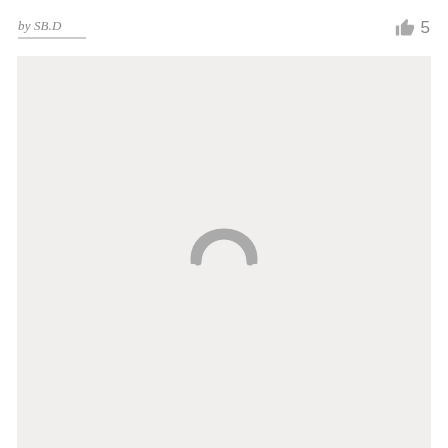by SB.D  👍 5
[Figure (other): A large light gray content area with a loading spinner icon (dark gray half-circle / omega shape) centered in the lower-middle portion of the area, indicating content is loading.]